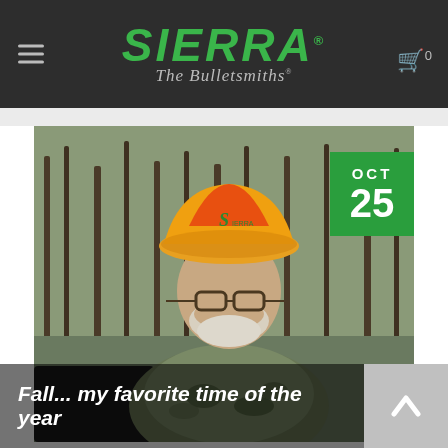[Figure (logo): Sierra Bullets logo with green italic text 'SIERRA' and tagline 'The Bulletsmiths' in cursive, on dark background]
[Figure (photo): Older man wearing a yellow and orange Sierra-branded cap and camouflage shirt, outdoors with trees in background. Green date badge in upper right corner showing OCT 25.]
Fall... my favorite time of the year